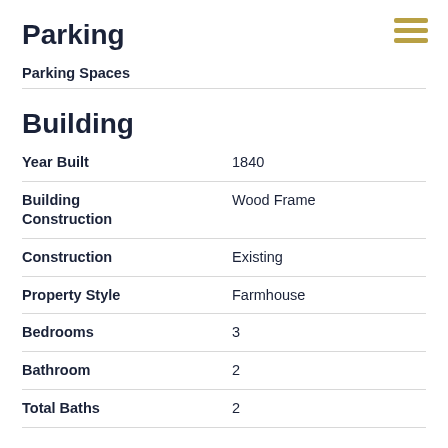Parking
| Field | Value |
| --- | --- |
| Parking Spaces |  |
Building
| Field | Value |
| --- | --- |
| Year Built | 1840 |
| Building Construction | Wood Frame |
| Construction | Existing |
| Property Style | Farmhouse |
| Bedrooms | 3 |
| Bathroom | 2 |
| Total Baths | 2 |